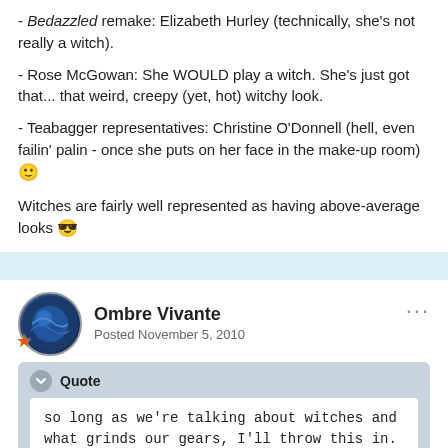- Bedazzled remake: Elizabeth Hurley (technically, she's not really a witch).
- Rose McGowan: She WOULD play a witch. She's just got that... that weird, creepy (yet, hot) witchy look.
- Teabagger representatives: Christine O'Donnell (hell, even failin' palin - once she puts on her face in the make-up room) 🙂
Witches are fairly well represented as having above-average looks 😎
Ombre Vivante
Posted November 5, 2010
Quote
so long as we're talking about witches and what grinds our gears, I'll throw this in.